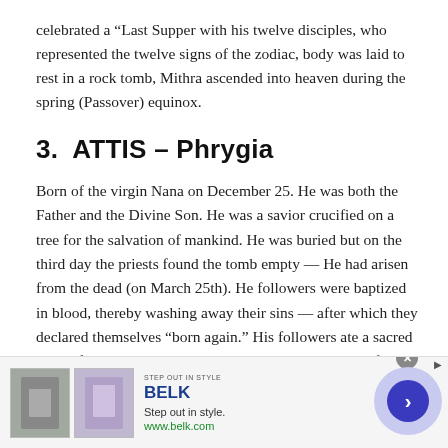celebrated a “Last Supper with his twelve disciples, who represented the twelve signs of the zodiac, body was laid to rest in a rock tomb, Mithra ascended into heaven during the spring (Passover) equinox.
3.  ATTIS – Phrygia
Born of the virgin Nana on December 25. He was both the Father and the Divine Son. He was a savior crucified on a tree for the salvation of mankind. He was buried but on the third day the priests found the tomb empty — He had arisen from the dead (on March 25th). He followers were baptized in blood, thereby washing away their sins — after which they declared themselves “born again.” His followers ate a sacred meal of bread, which they believed became the body of the
[Figure (screenshot): Advertisement banner for Belk department store. Shows 'STEP OUT IN STYLE' text, BELK brand name in blue, tagline 'Step out in style.' and URL 'www.belk.com', with two fashion product images and a blue circular arrow button on the right.]